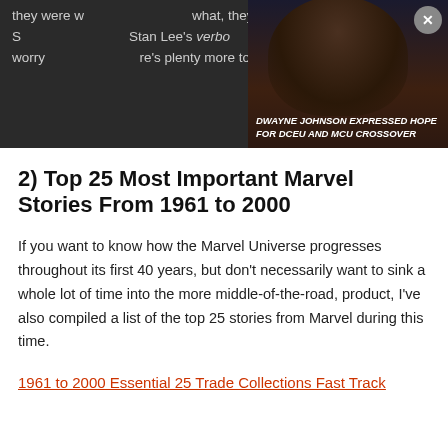they were w...what, they were! The S... Stan Lee's verbo...e today. Don't worry...re's plenty more to che...
[Figure (photo): Ad overlay showing a person (Dwayne Johnson) in dark costume with caption: DWAYNE JOHNSON EXPRESSED HOPE FOR DCEU AND MCU CROSSOVER. Close button (x) in top right.]
2) Top 25 Most Important Marvel Stories From 1961 to 2000
If you want to know how the Marvel Universe progresses throughout its first 40 years, but don't necessarily want to sink a whole lot of time into the more middle-of-the-road, product, I've also compiled a list of the top 25 stories from Marvel during this time.
1961 to 2000 Essential 25 Trade Collections Fast Track